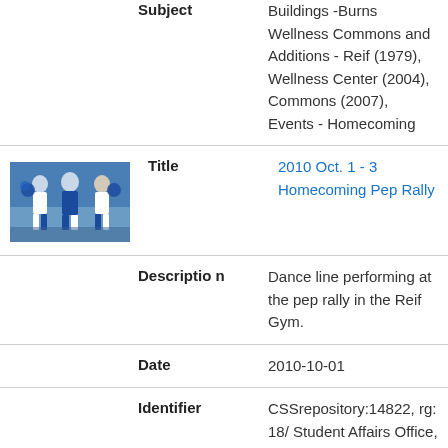Subject: Buildings -Burns Wellness Commons and Additions - Reif (1979), Wellness Center (2004), Commons (2007), Events - Homecoming
[Figure (photo): Thumbnail photo of dance line performers at a pep rally, wearing blue and white uniforms]
Title: 2010 Oct. 1 - 3 Homecoming Pep Rally
Description: Dance line performing at the pep rally in the Reif Gym.
Date: 2010-10-01
Identifier: CSSrepository:14822, rg: 18/Student Affairs Office, rsg: 30/Residential Life/Housing, rs: 04/Homecoming, rss: , mdl:
Subject: Buildings -Burns Wellness